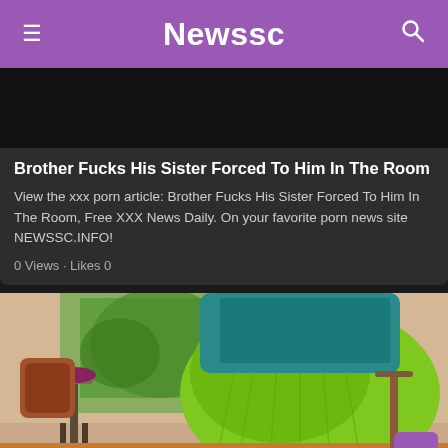Newssc
[Figure (photo): Dark/black thumbnail image placeholder for article]
Brother Fucks His Sister Forced To Him In The Room
View the xxx porn article: Brother Fucks His Sister Forced To Him In The Room, Free XXX News Daily. On your favorite porn news site NEWSSC.INFO!
0 Views · Likes 0
[Figure (photo): Photo of a person in green leggings and teal top in a living room setting with bar stools and plants in the background]
Xxx Videos With Romance Fucked In The Ass Until The